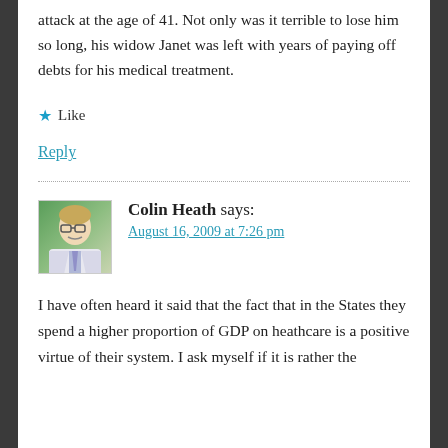attack at the age of 41. Not only was it terrible to lose him so long, his widow Janet was left with years of paying off debts for his medical treatment.
★ Like
Reply
Colin Heath says:
August 16, 2009 at 7:26 pm
I have often heard it said that the fact that in the States they spend a higher proportion of GDP on heathcare is a positive virtue of their system. I ask myself if it is rather the